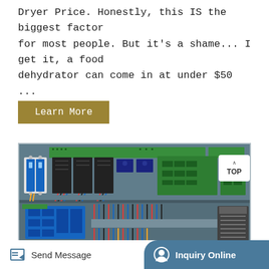Dryer Price. Honestly, this IS the biggest factor for most people. But it's a shame... I get it, a food dehydrator can come in at under $50 ...
Learn More
[Figure (photo): Open electrical control panel box showing circuit boards, transformers, relays, breakers, and wiring in a blue metal enclosure. A 'TOP' button is visible in the upper right corner of the panel.]
Send Message    Inquiry Online